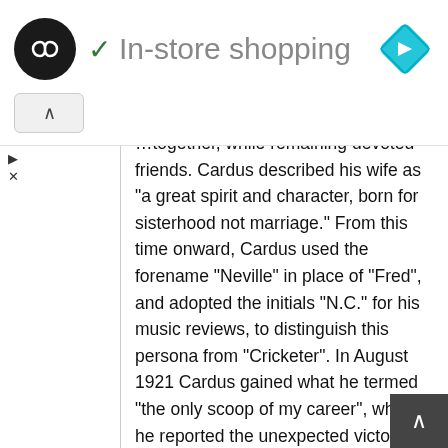[Figure (logo): Black circle logo with double infinity/arrow symbol in white, followed by a green checkmark and grey text 'In-store shopping', and a blue diamond navigation icon on the right]
together, while remaining devoted friends. Cardus described his wife as "a great spirit and character, born for sisterhood not marriage." From this time onward, Cardus used the forename "Neville" in place of "Fred", and adopted the initials "N.C." for his music reviews, to distinguish this persona from "Cricketer". In August 1921 Cardus gained what he termed "the only scoop of my career", when he reported the unexpected victory by 28 runs of MacLaren's scratch side over the previously unbeaten Australian touring team. The match, at The Saffrons ground at Eastbourne, had attracted little interest from other cricket correspondents, being treated as a foregone conclusion.
1927
Following Langford's death in May 1927, Cardus became The Manchester Guardian's chief music critic. For several years he had worked closely with Langford, whose influence on the younger